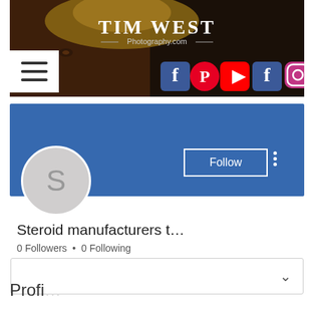[Figure (screenshot): Tim West Photography.com website header banner with a woman wearing a hat, hamburger menu icon, and social media icons (Facebook, Pinterest, YouTube, Facebook, Instagram)]
[Figure (screenshot): User profile section with blue banner, circular avatar with letter S, Follow button, three-dot menu, username 'Steroid manufacturers t…', 0 Followers, 0 Following, and a dropdown box]
Profi...